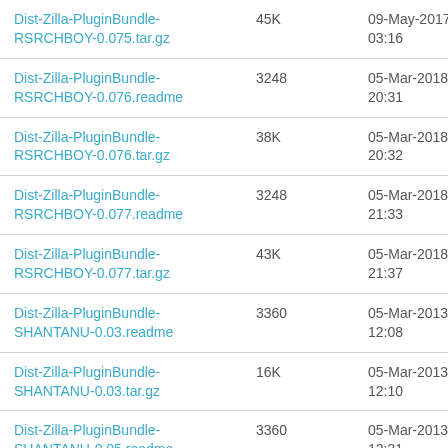| Name | Size | Date |
| --- | --- | --- |
| Dist-Zilla-PluginBundle-RSRCHBOY-0.075.tar.gz | 45K | 09-May-2017 03:16 |
| Dist-Zilla-PluginBundle-RSRCHBOY-0.076.readme | 3248 | 05-Mar-2018 20:31 |
| Dist-Zilla-PluginBundle-RSRCHBOY-0.076.tar.gz | 38K | 05-Mar-2018 20:32 |
| Dist-Zilla-PluginBundle-RSRCHBOY-0.077.readme | 3248 | 05-Mar-2018 21:33 |
| Dist-Zilla-PluginBundle-RSRCHBOY-0.077.tar.gz | 43K | 05-Mar-2018 21:37 |
| Dist-Zilla-PluginBundle-SHANTANU-0.03.readme | 3360 | 05-Mar-2013 12:08 |
| Dist-Zilla-PluginBundle-SHANTANU-0.03.tar.gz | 16K | 05-Mar-2013 12:10 |
| Dist-Zilla-PluginBundle-SHANTANU-0.05.readme | 3360 | 05-Mar-2013 12:31 |
| Dist-Zilla-PluginBundle-SHANTANU-0.05.tar.gz | 16K | 05-Mar-2013 12:32 |
| Dist-Zilla-PluginBundle- | 3360 | 09-Jul-2013 |